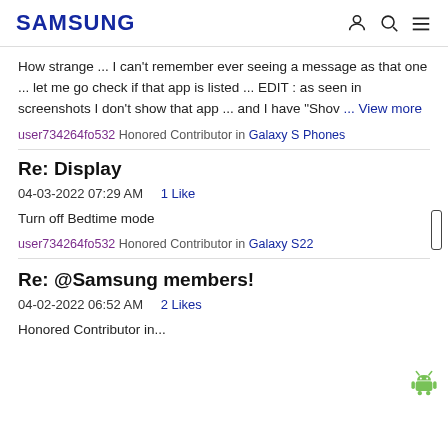SAMSUNG
How strange ... I can't remember ever seeing a message as that one ... let me go check if that app is listed ... EDIT : as seen in screenshots I don't show that app ... and I have "Shov ... View more
user734264fo532 Honored Contributor in Galaxy S Phones
Re: Display
04-03-2022 07:29 AM   1 Like
Turn off Bedtime mode
user734264fo532 Honored Contributor in Galaxy S22
Re: @Samsung members!
04-02-2022 06:52 AM   2 Likes
Honored Contributor in...